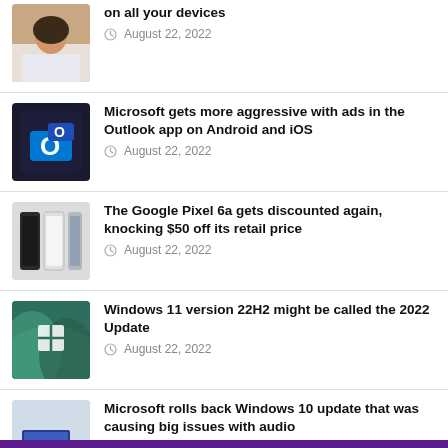on all your devices — August 22, 2022
Microsoft gets more aggressive with ads in the Outlook app on Android and iOS — August 22, 2022
The Google Pixel 6a gets discounted again, knocking $50 off its retail price — August 22, 2022
Windows 11 version 22H2 might be called the 2022 Update — August 22, 2022
Microsoft rolls back Windows 10 update that was causing big issues with audio — August 22, 2022